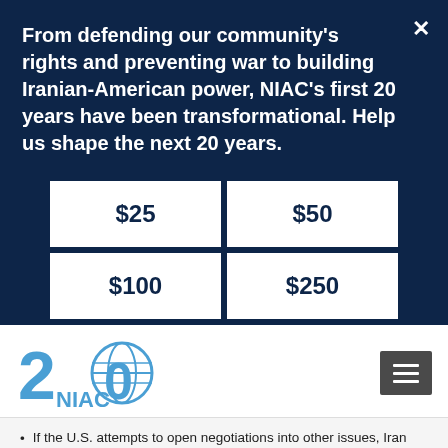From defending our community's rights and preventing war to building Iranian-American power, NIAC's first 20 years have been transformational. Help us shape the next 20 years.
| $25 | $50 |
| $100 | $250 |
[Figure (logo): NIAC 20th anniversary logo with blue numeral 20 and globe graphic, text NIAC]
If the U.S. attempts to open negotiations into other issues, Iran may choose to play the nuclear cards at its disposal. In the lead up to the